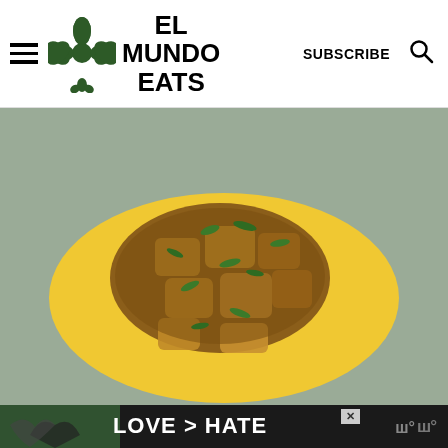EL MUNDO EATS — SUBSCRIBE
[Figure (photo): A yellow plate with Indian-spiced pumpkin or potato curry garnished with fresh cilantro, photographed on a gray surface.]
[Figure (photo): Advertisement banner showing hands making a heart shape outdoors, with text LOVE > HATE and a brand logo.]